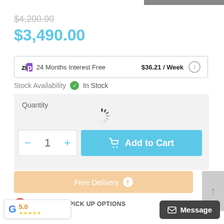$4,200.00 (strikethrough)
$3,490.00
zip   24 Months Interest Free   $36.21 / Week
Stock Availability  ✓ In Stock
Quantity
[Figure (other): Loading spinner icon]
— 1 +   Add to Cart
Free Delivery ⓘ
DELIVERY & PICK UP OPTIONS
Google rating: 5.0 ★★★★★
Message